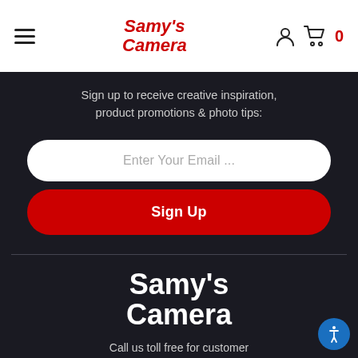Samy's Camera — navigation header with hamburger menu, logo, user icon, and cart (0)
Sign up to receive creative inspiration, product promotions & photo tips:
Enter Your Email ...
Sign Up
[Figure (logo): Samy's Camera logo in white bold text on dark background]
Call us toll free for customer